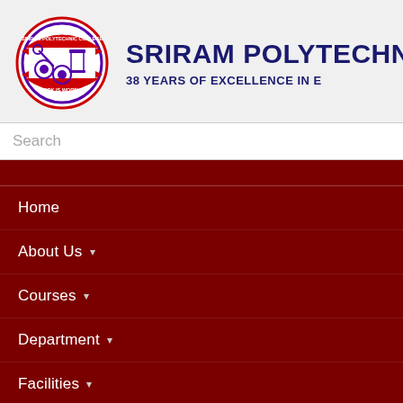[Figure (logo): Sriram Polytechnic College circular logo with college emblem, gears, and 'Work is Worship' banner in red and purple]
SRIRAM POLYTECHNIC
38 YEARS OF EXCELLENCE IN E
Search
Home
About Us
Courses
Department
Facilities
Admission
Advantage of SRPTC